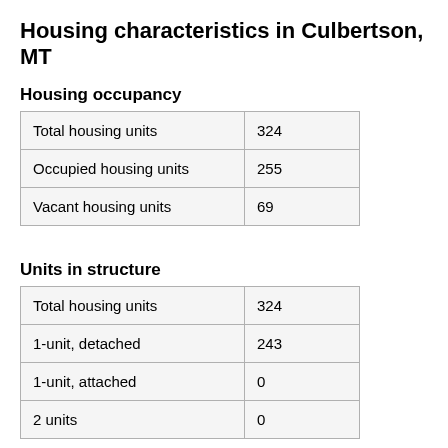Housing characteristics in Culbertson, MT
Housing occupancy
| Total housing units | 324 |
| Occupied housing units | 255 |
| Vacant housing units | 69 |
Units in structure
| Total housing units | 324 |
| 1-unit, detached | 243 |
| 1-unit, attached | 0 |
| 2 units | 0 |